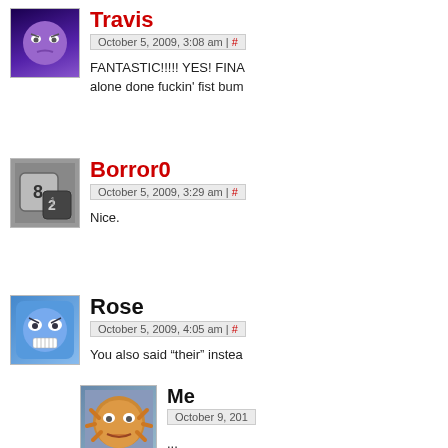[Figure (illustration): Avatar for Travis: purple smiley face on dark background]
Travis
October 5, 2009, 3:08 am | #
FANTASTIC!!!!! YES! FINA... alone done fuckin' fist bum...
[Figure (illustration): Avatar for Borror0: dice on dark background]
Borror0
October 5, 2009, 3:29 am | #
Nice.
[Figure (illustration): Avatar for Rose: blue angry smiley face]
Rose
October 5, 2009, 4:05 am | #
You also said “their” instea...
[Figure (illustration): Avatar for Me: orange gear/cog face]
Me
October 9, 201...
...
...
...
Yes, he did.
...
[Figure (illustration): Avatar for Miroslav: dark brown image]
Miroslav